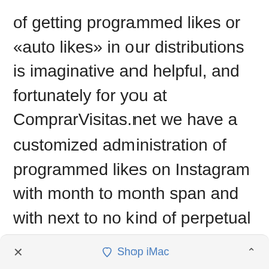of getting programmed likes or «auto likes» in our distributions is imaginative and helpful, and fortunately for you at ComprarVisitas.net we have a customized administration of programmed likes on Instagram with month to month span and with next to no kind of perpetual quality,
What are auto likes on Instagram?
× ♡ Shop iMac ^